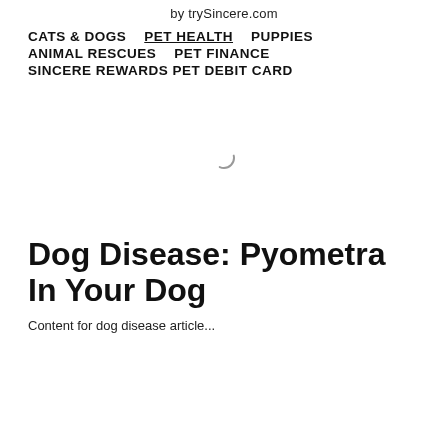by trySincere.com
CATS & DOGS
PET HEALTH
PUPPIES
ANIMAL RESCUES
PET FINANCE
SINCERE REWARDS PET DEBIT CARD
[Figure (other): Loading spinner/throbber icon centered in a blank content area]
Dog Disease: Pyometra In Your Dog
Content for dog disease article beginning below title